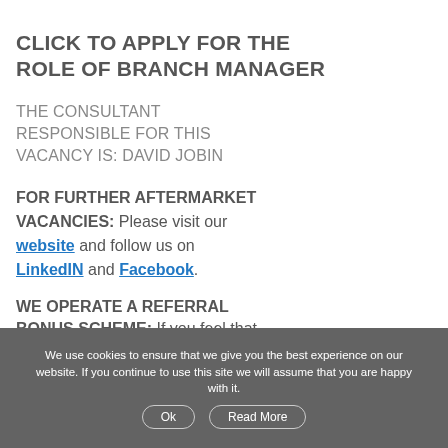CLICK TO APPLY FOR THE ROLE OF BRANCH MANAGER
THE CONSULTANT RESPONSIBLE FOR THIS VACANCY IS: DAVID JOBIN
FOR FURTHER AFTERMARKET VACANCIES: Please visit our website and follow us on LinkedIN and Facebook.
WE OPERATE A REFERRAL BONUS SCHEME: If you feel that
We use cookies to ensure that we give you the best experience on our website. If you continue to use this site we will assume that you are happy with it. Ok Read More